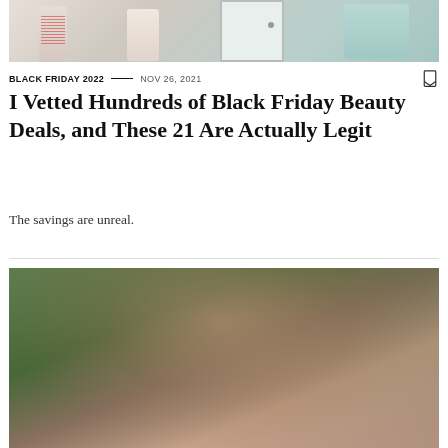[Figure (photo): Top portion of a photo showing beauty/skincare products (bottles) on a shelf or in a medicine cabinet, with a mint-colored container visible]
BLACK FRIDAY 2022  —  NOV 26, 2021
I Vetted Hundreds of Black Friday Beauty Deals, and These 21 Are Actually Legit
The savings are unreal.
[Figure (photo): Bottom portion of a photo showing a young woman with long brown hair, wearing a tan/camel coat, posed outdoors in front of green foliage]